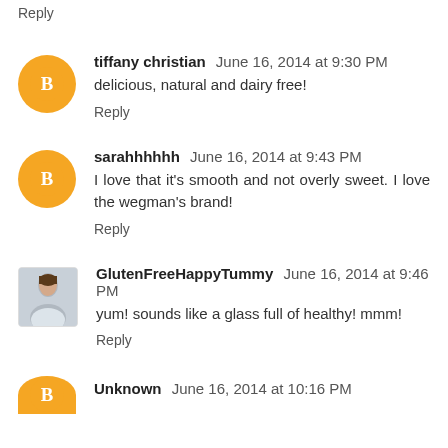Reply
tiffany christian  June 16, 2014 at 9:30 PM
delicious, natural and dairy free!
Reply
sarahhhhhh  June 16, 2014 at 9:43 PM
I love that it's smooth and not overly sweet. I love the wegman's brand!
Reply
GlutenFreeHappyTummy  June 16, 2014 at 9:46 PM
yum! sounds like a glass full of healthy! mmm!
Reply
Unknown  June 16, 2014 at 10:16 PM